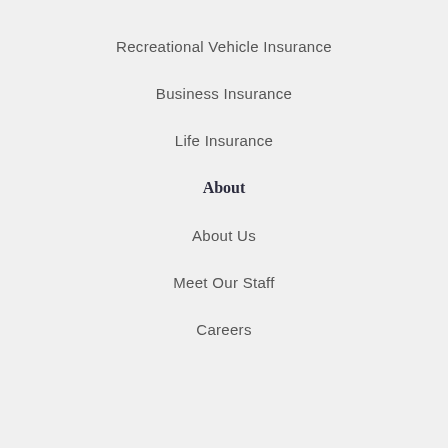Recreational Vehicle Insurance
Business Insurance
Life Insurance
About
About Us
Meet Our Staff
Careers